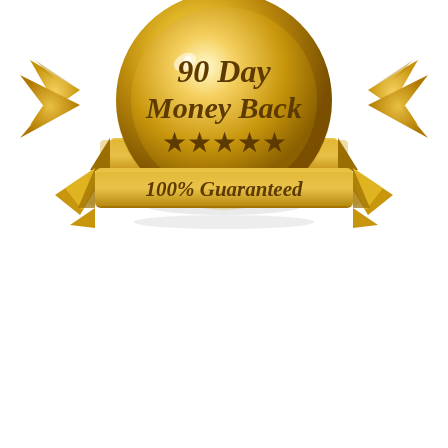[Figure (illustration): Gold medal/badge with ribbon wings showing '100%' and 'No Plagiarism' text]
[Figure (illustration): Gold medal/badge with ribbon showing '90 Day Money Back', five stars, and '100% Guaranteed' text]